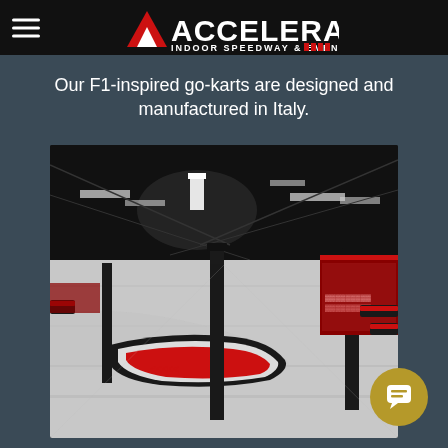Accelerate Indoor Speedway & Events
Our F1-inspired go-karts are designed and manufactured in Italy.
[Figure (photo): Interior of Accelerate Indoor Speedway showing the go-kart track with red and black barriers, black support columns, bright overhead lighting, white track surface, and spectator areas in the background.]
[Figure (other): Gold circular chat/support button in the bottom right corner with a chat icon.]